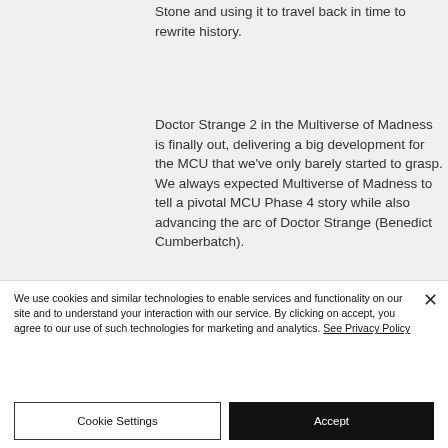Stone and using it to travel back in time to rewrite history.
Doctor Strange 2 in the Multiverse of Madness is finally out, delivering a big development for the MCU that we've only barely started to grasp. We always expected Multiverse of Madness to tell a pivotal MCU Phase 4 story while also advancing the arc of Doctor Strange (Benedict Cumberbatch).
We use cookies and similar technologies to enable services and functionality on our site and to understand your interaction with our service. By clicking on accept, you agree to our use of such technologies for marketing and analytics. See Privacy Policy